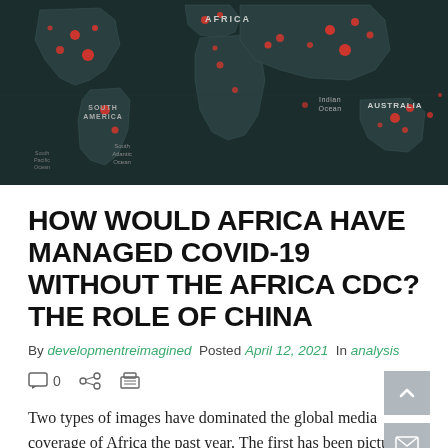[Figure (map): Dark world map with red dots indicating COVID-19 spread/cases across continents. Labels visible: AFRICA, SOUTH AMERICA, Indian Ocean, AUSTRALIA, South Atlantic Ocean, South Pacific Ocean.]
HOW WOULD AFRICA HAVE MANAGED COVID-19 WITHOUT THE AFRICA CDC? THE ROLE OF CHINA
By developmentreimagined Posted April 12, 2021 In analysis
0 (comment icon, share icon, print icon)
Two types of images have dominated the global media coverage of Africa the past year. The first has been pictures